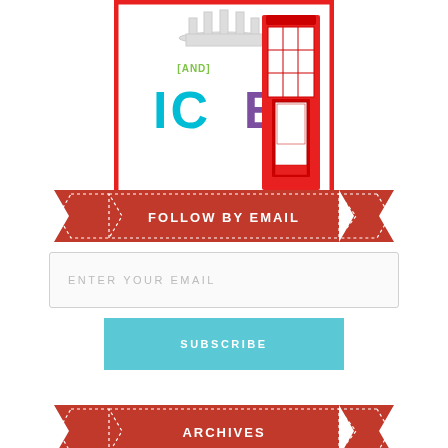[Figure (illustration): Book cover illustration showing a crown, '[AND]' in green text, 'ICE' in large cyan/purple letters, and a red British telephone box, all framed in a red border]
[Figure (infographic): Red ribbon banner with white dashed border containing text 'FOLLOW BY EMAIL' in white uppercase letters]
ENTER YOUR EMAIL
SUBSCRIBE
[Figure (infographic): Red ribbon banner with white dashed border containing text 'ARCHIVES' in white uppercase letters]